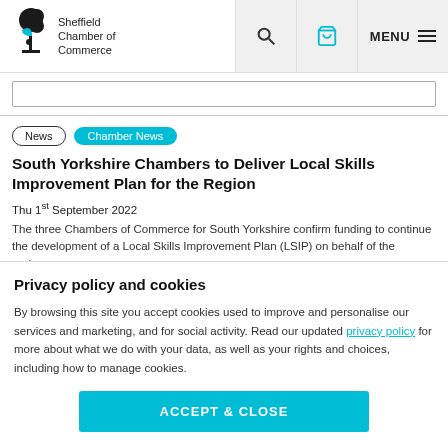Sheffield Chamber of Commerce
News
Chamber News
South Yorkshire Chambers to Deliver Local Skills Improvement Plan for the Region
Thu 1st September 2022
The three Chambers of Commerce for South Yorkshire confirm funding to continue the development of a Local Skills Improvement Plan (LSIP) on behalf of the region...
Privacy policy and cookies
By browsing this site you accept cookies used to improve and personalise our services and marketing, and for social activity. Read our updated privacy policy for more about what we do with your data, as well as your rights and choices, including how to manage cookies.